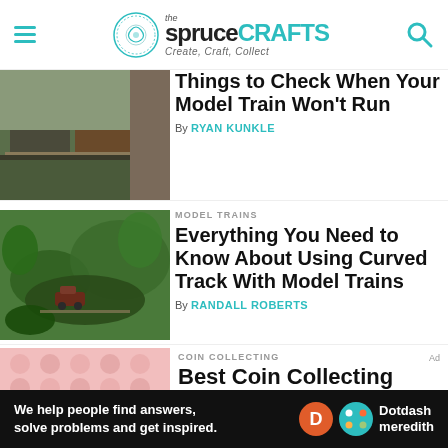the spruce CRAFTS — Create, Craft, Collect
[Figure (photo): Model train cars on a layout track with scenic background]
Things to Check When Your Model Train Won't Run
By RYAN KUNKLE
MODEL TRAINS
[Figure (photo): Garden railroad scene with a steam locomotive among lush green plants]
Everything You Need to Know About Using Curved Track With Model Trains
By RANDALL ROBERTS
COIN COLLECTING
Best Coin Collecting
[Figure (photo): Coin collecting decorative pink background image (partial)]
We help people find answers, solve problems and get inspired. Dotdash meredith